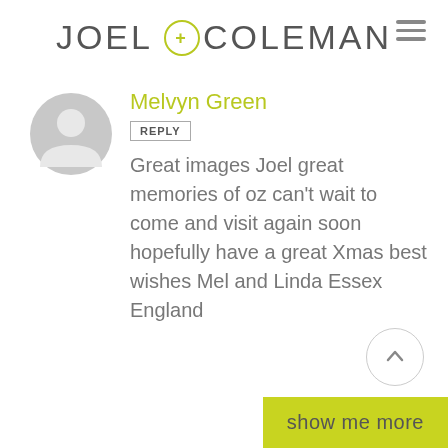JOEL COLEMAN
Melvyn Green
REPLY
Great images Joel great memories of oz can't wait to come and visit again soon hopefully have a great Xmas best wishes Mel and Linda Essex England
show me more